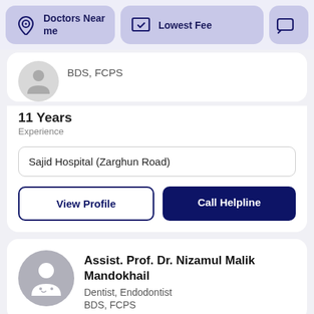[Figure (screenshot): Top navigation bar with Doctors Near me, Lowest Fee, and a third partially visible button]
BDS, FCPS
11 Years
Experience
Sajid Hospital (Zarghun Road)
View Profile
Call Helpline
Assist. Prof. Dr. Nizamul Malik Mandokhail
Dentist, Endodontist
BDS, FCPS